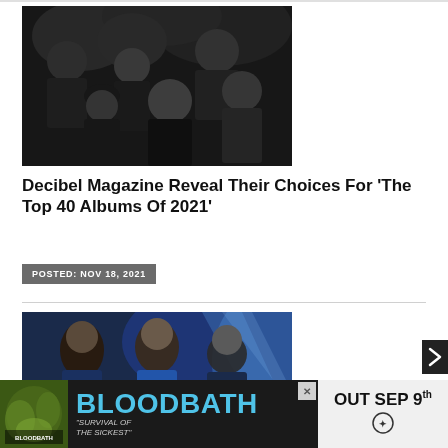[Figure (photo): Black and white group photo of a band, multiple members posed together, some with long hair, one wearing a hat]
Decibel Magazine Reveal Their Choices For 'The Top 40 Albums Of 2021'
POSTED: NOV 18, 2021
[Figure (photo): Color photo of a band with blue background lighting, three members with long hair posed together]
[Figure (advertisement): Bloodbath advertisement banner - BLOODBATH 'Survival of the Sickest' OUT SEP 9th]